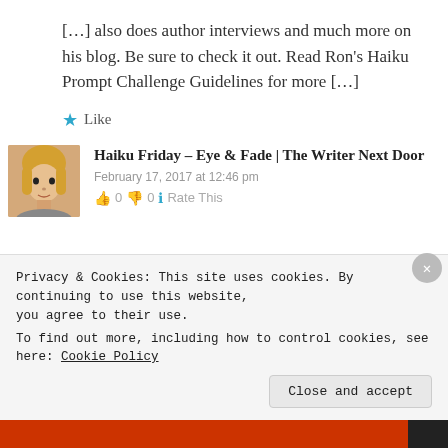[…] also does author interviews and much more on his blog. Be sure to check it out. Read Ron's Haiku Prompt Challenge Guidelines for more […]
★ Like
[Figure (photo): Avatar photo of a young woman with blonde hair]
Haiku Friday – Eye & Fade | The Writer Next Door
February 17, 2017 at 12:46 pm
👍 0 👎 0 ℹ Rate This
Privacy & Cookies: This site uses cookies. By continuing to use this website, you agree to their use.
To find out more, including how to control cookies, see here: Cookie Policy
Close and accept